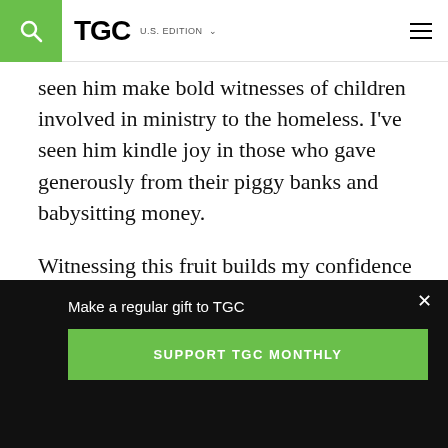TGC U.S. EDITION
seen him make bold witnesses of children involved in ministry to the homeless. I've seen him kindle joy in those who gave generously from their piggy banks and babysitting money.
Witnessing this fruit builds my confidence that God will also care for my children as they learn the cost of following him.
Make a regular gift to TGC
SUPPORT TGC MONTHLY